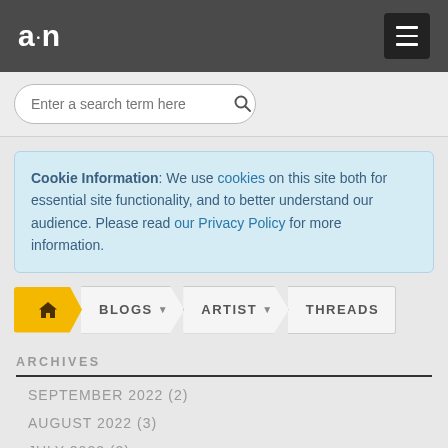a·n
Enter a search term here
Cookie Information: We use cookies on this site both for essential site functionality, and to better understand our audience. Please read our Privacy Policy for more information.
🏠 BLOGS ▾ ARTIST ▾ THREADS
ARCHIVES
SEPTEMBER 2022 (2)
AUGUST 2022 (3)
JULY 2022 (2)
JUNE 2022 (4)
MAY 2022 (4)